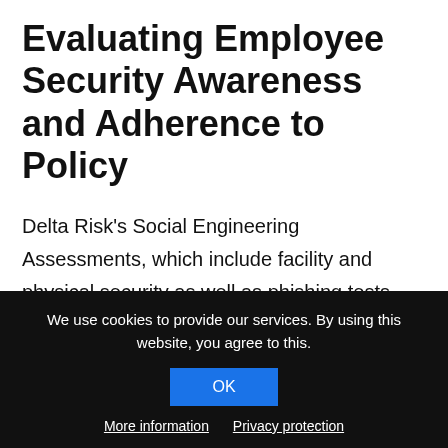Evaluating Employee Security Awareness and Adherence to Policy
Delta Risk's Social Engineering Assessments, which include facility and physical security as well as phishing tests, deliver an objective evaluation of your employees' awareness, training, and policy adherence. Social engineering is a collection of techniques for intentionally manipulating people into providing inappropriate access to
We use cookies to provide our services. By using this website, you agree to this. OK More information Privacy protection